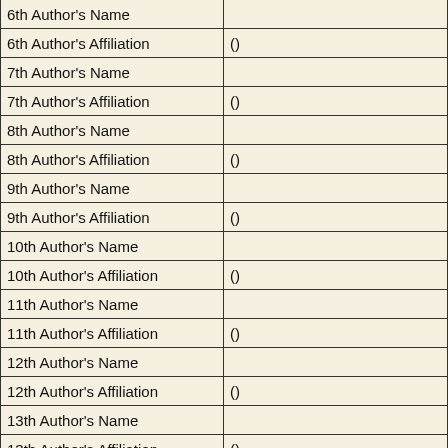| 6th Author's Name |  |
| 6th Author's Affiliation | () |
| 7th Author's Name |  |
| 7th Author's Affiliation | () |
| 8th Author's Name |  |
| 8th Author's Affiliation | () |
| 9th Author's Name |  |
| 9th Author's Affiliation | () |
| 10th Author's Name |  |
| 10th Author's Affiliation | () |
| 11th Author's Name |  |
| 11th Author's Affiliation | () |
| 12th Author's Name |  |
| 12th Author's Affiliation | () |
| 13th Author's Name |  |
| 13th Author's Affiliation | () |
| 14th Author's Name |  |
| 14th Author's Affiliation | () |
| 15th Author's Name |  |
| 15th Author's Affiliation | () |